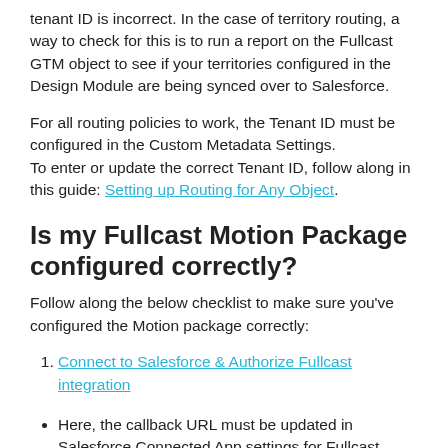tenant ID is incorrect. In the case of territory routing, a way to check for this is to run a report on the Fullcast GTM object to see if your territories configured in the Design Module are being synced over to Salesforce.
For all routing policies to work, the Tenant ID must be configured in the Custom Metadata Settings.
To enter or update the correct Tenant ID, follow along in this guide: Setting up Routing for Any Object.
Is my Fullcast Motion Package configured correctly?
Follow along the below checklist to make sure you've configured the Motion package correctly:
Connect to Salesforce & Authorize Fullcast integration
Here, the callback URL must be updated in Salesforce Connected App settings for Fullcast